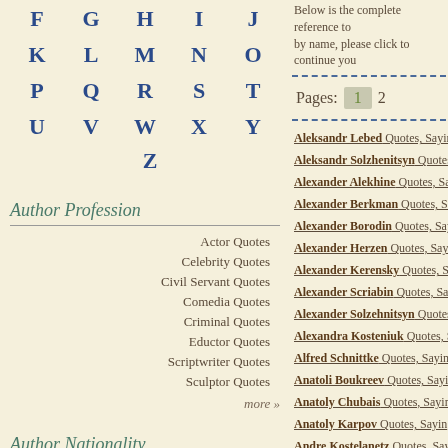F G H I J
K L M N O
P Q R S T
U V W X Y
Z
Author Profession
Actor Quotes
Celebrity Quotes
Civil Servant Quotes
Comedia Quotes
Criminal Quotes
Eductor Quotes
Scriptwriter Quotes
Sculptor Quotes
more »
Author Nationality
Below is the complete reference to... by name, please click to continue you...
Pages: 1 2
Aleksandr Lebed Quotes, Sayings
Aleksandr Solzhenitsyn Quotes,
Alexander Alekhine Quotes, Sayi
Alexander Berkman Quotes, Sayi
Alexander Borodin Quotes, Sayin
Alexander Herzen Quotes, Saying
Alexander Kerensky Quotes, Say
Alexander Scriabin Quotes, Sayin
Alexander Solzehnitsyn Quotes,
Alexandra Kosteniuk Quotes, Say
Alfred Schnittke Quotes, Sayings
Anatoli Boukreev Quotes, Saying
Anatoly Chubais Quotes, Sayings
Anatoly Karpov Quotes, Sayings,
Andre Kostelanetz Quotes, Sayi